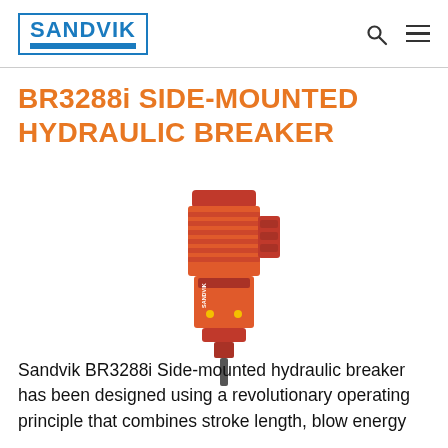SANDVIK
BR3288i SIDE-MOUNTED HYDRAULIC BREAKER
[Figure (photo): Product photo of the Sandvik BR3288i Side-mounted hydraulic breaker, a red-orange colored heavy-duty hydraulic breaker tool shown vertically with a chisel bit pointing downward.]
Sandvik BR3288i Side-mounted hydraulic breaker has been designed using a revolutionary operating principle that combines stroke length, blow energy